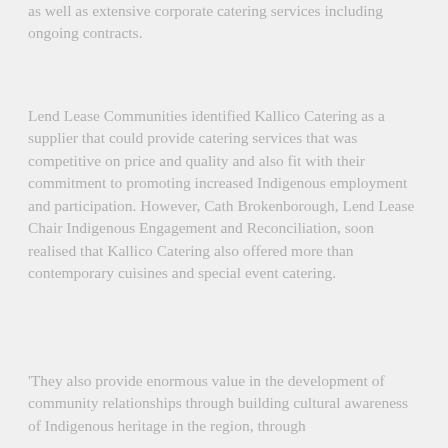as well as extensive corporate catering services including ongoing contracts.
Lend Lease Communities identified Kallico Catering as a supplier that could provide catering services that was competitive on price and quality and also fit with their commitment to promoting increased Indigenous employment and participation. However, Cath Brokenborough, Lend Lease Chair Indigenous Engagement and Reconciliation, soon realised that Kallico Catering also offered more than contemporary cuisines and special event catering.
'They also provide enormous value in the development of community relationships through building cultural awareness of Indigenous heritage in the region, through